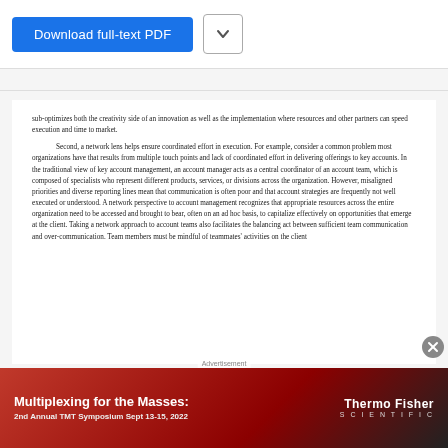[Figure (screenshot): Download full-text PDF button (blue) and a chevron dropdown button]
sub-optimizes both the creativity side of an innovation as well as the implementation where resources and other partners can speed execution and time to market.
Second, a network lens helps ensure coordinated effort in execution. For example, consider a common problem most organizations have that results from multiple touch points and lack of coordinated effort in delivering offerings to key accounts. In the traditional view of key account management, an account manager acts as a central coordinator of an account team, which is composed of specialists who represent different products, services, or divisions across the organization. However, misaligned priorities and diverse reporting lines mean that communication is often poor and that account strategies are frequently not well executed or understood. A network perspective to account management recognizes that appropriate resources across the entire organization need to be accessed and brought to bear, often on an ad hoc basis, to capitalize effectively on opportunities that emerge at the client. Taking a network approach to account teams also facilitates the balancing act between sufficient team communication and over-communication. Team members must be mindful of teammates' activities on the client
[Figure (photo): Advertisement banner: Multiplexing for the Masses: 2nd Annual TMT Symposium Sept 13-15, 2022 — Thermo Fisher Scientific logo on red/dark background]